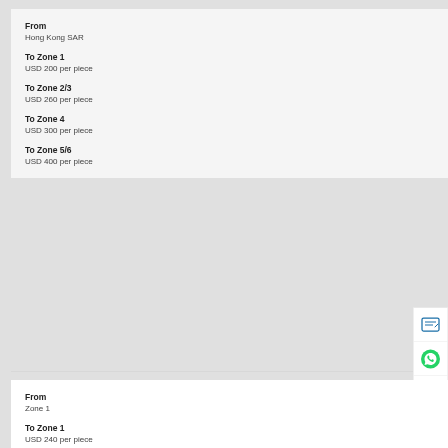From
Hong Kong SAR
To Zone 1
USD 200 per piece
To Zone 2/3
USD 260 per piece
To Zone 4
USD 300 per piece
To Zone 5/6
USD 400 per piece
From
Zone 1
To Zone 1
USD 240 per piece